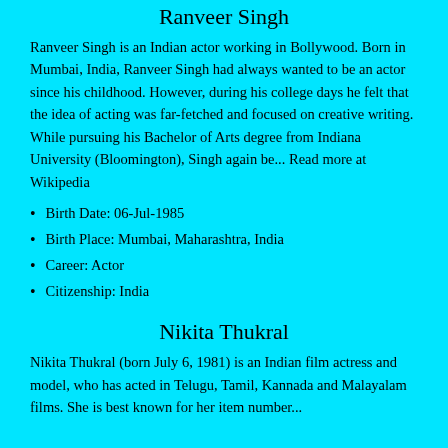Ranveer Singh
Ranveer Singh is an Indian actor working in Bollywood. Born in Mumbai, India, Ranveer Singh had always wanted to be an actor since his childhood. However, during his college days he felt that the idea of acting was far-fetched and focused on creative writing. While pursuing his Bachelor of Arts degree from Indiana University (Bloomington), Singh again be... Read more at Wikipedia
Birth Date: 06-Jul-1985
Birth Place: Mumbai, Maharashtra, India
Career: Actor
Citizenship: India
Nikita Thukral
Nikita Thukral (born July 6, 1981) is an Indian film actress and model, who has acted in Telugu, Tamil, Kannada and Malayalam films. She is best known for her item number...